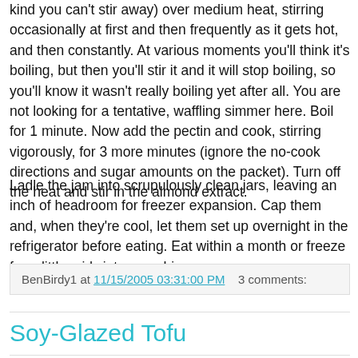kind you can't stir away) over medium heat, stirring occasionally at first and then frequently as it gets hot, and then constantly. At various moments you'll think it's boiling, but then you'll stir it and it will stop boiling, so you'll know it wasn't really boiling yet after all. You are not looking for a tentative, waffling simmer here. Boil for 1 minute. Now add the pectin and cook, stirring vigorously, for 3 more minutes (ignore the no-cook directions and sugar amounts on the packet). Turn off the heat and stir in the almond extract.
Ladle the jam into scrupulously clean jars, leaving an inch of headroom for freezer expansion. Cap them and, when they're cool, let them set up overnight in the refrigerator before eating. Eat within a month or freeze for a little midwinter sunshine.
BenBirdy1 at 11/15/2005 03:31:00 PM   3 comments:
Soy-Glazed Tofu